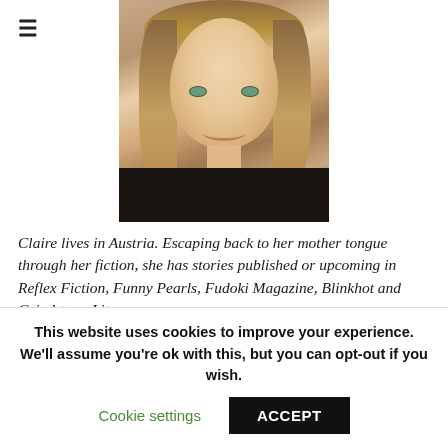≡
[Figure (photo): Headshot photo of a smiling woman with blonde/light brown hair, green eyes, wearing a dark top, photographed outdoors with warm background tones. She has glasses pushed up on her head.]
Claire lives in Austria. Escaping back to her mother tongue through her fiction, she has stories published or upcoming in Reflex Fiction, Funny Pearls, Fudoki Magazine, Blinkhot and Grindstone Literary among
This website uses cookies to improve your experience. We'll assume you're ok with this, but you can opt-out if you wish.
Cookie settings
ACCEPT